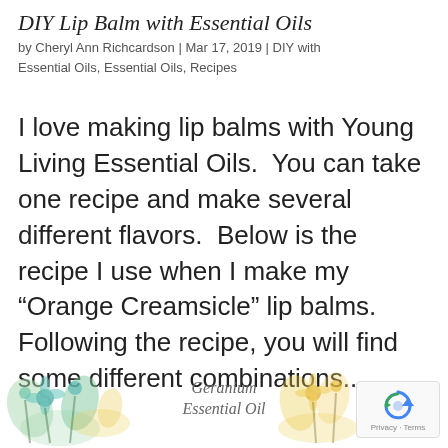DIY Lip Balm with Essential Oils
by Cheryl Ann Richcardson | Mar 17, 2019 | DIY with Essential Oils, Essential Oils, Recipes
I love making lip balms with Young Living Essential Oils.  You can take one recipe and make several different flavors.  Below is the recipe I use when I make my “Orange Creamsicle” lip balms.  Following the recipe, you will find some different combinations...
[Figure (illustration): Decorative floral/botanical illustration at bottom left with teal and yellow flowers]
Geranium Essential Oil
[Figure (illustration): Decorative floral/botanical illustration at bottom right with yellow flowers]
[Figure (logo): Google reCAPTCHA badge with recycling-arrow icon and Privacy - Terms text]